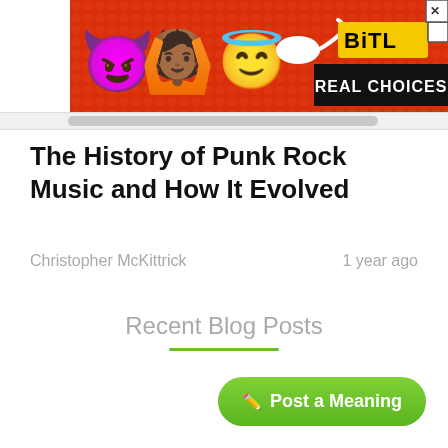[Figure (screenshot): BitLife advertisement banner with red dotted background, emojis (devil, person with raised hands, angel), sperm icon, BitLife logo in yellow, close/help buttons, and 'REAL CHOICES' text on black background]
The History of Punk Rock Music and How It Evolved
Christopher McKittrick    1 year ago
Recent Blog Posts
Post a Meaning